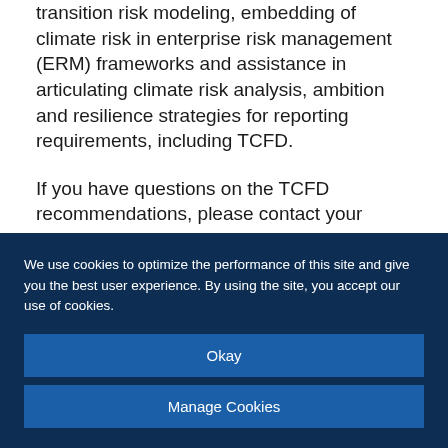transition risk modeling, embedding of climate risk in enterprise risk management (ERM) frameworks and assistance in articulating climate risk analysis, ambition and resilience strategies for reporting requirements, including TCFD.
If you have questions on the TCFD recommendations, please contact your Marsh advisor.
We use cookies to optimize the performance of this site and give you the best user experience. By using the site, you accept our use of cookies.
Okay
Manage Cookies